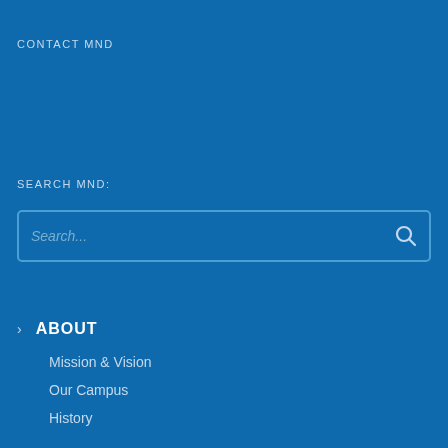CONTACT MND
SEARCH MND:
[Figure (screenshot): Search input box with placeholder text 'Search...' and a search icon on the right, with a blue border on a blue background]
ABOUT
Mission & Vision
Our Campus
History